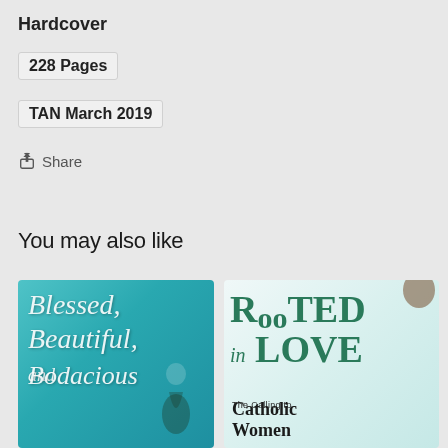Hardcover
228 Pages
TAN March 2019
Share
You may also like
[Figure (photo): Book cover for 'Blessed, Beautiful, and Bodacious' with a teal/turquoise background and italic script text]
[Figure (photo): Book cover for 'Rooted in Love: The Calling of Catholic Women' with a light teal/white background and bold serif title text in dark green]